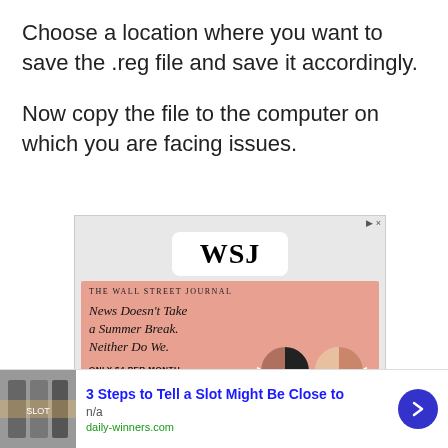Choose a location where you want to save the .reg file and save it accordingly.
Now copy the file to the computer on which you are facing issues.
[Figure (screenshot): WSJ (Wall Street Journal) advertisement showing the WSJ logo, headline 'News Doesn't Take a Summer Break. Neither Do We.', 'ONLY $4 PER MONTH', and a 'SUBSCRIBE TODAY' button, with decorative glasses illustration on salmon background.]
[Figure (screenshot): Bottom banner ad: '3 Steps to Tell a Slot Might Be Close to' from daily-winners.com with n/a label and blue arrow button.]